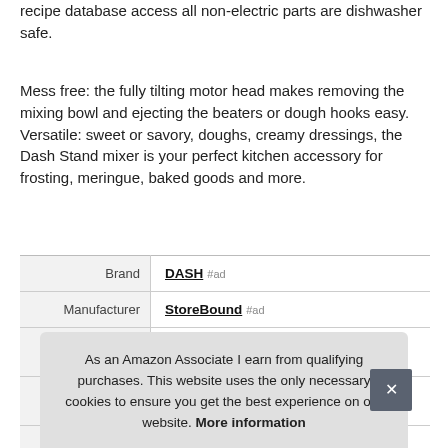recipe database access all non-electric parts are dishwasher safe.
Mess free: the fully tilting motor head makes removing the mixing bowl and ejecting the beaters or dough hooks easy. Versatile: sweet or savory, doughs, creamy dressings, the Dash Stand mixer is your perfect kitchen accessory for frosting, meringue, baked goods and more.
|  |  |
| --- | --- |
| Brand | DASH #ad |
| Manufacturer | StoreBound #ad |
As an Amazon Associate I earn from qualifying purchases. This website uses the only necessary cookies to ensure you get the best experience on our website. More information